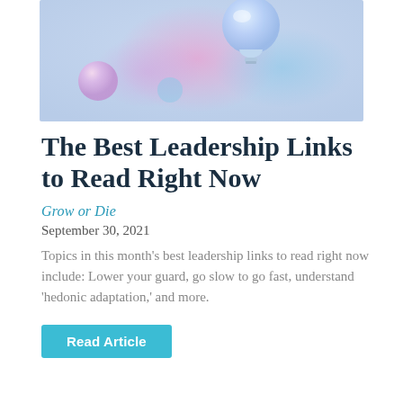[Figure (photo): Decorative header image featuring colorful glowing light bulb ornaments against a light blue/lavender background with pastel pink and blue gradient blobs]
The Best Leadership Links to Read Right Now
Grow or Die
September 30, 2021
Topics in this month’s best leadership links to read right now include: Lower your guard, go slow to go fast, understand ‘hedonic adaptation,’ and more.
Read Article